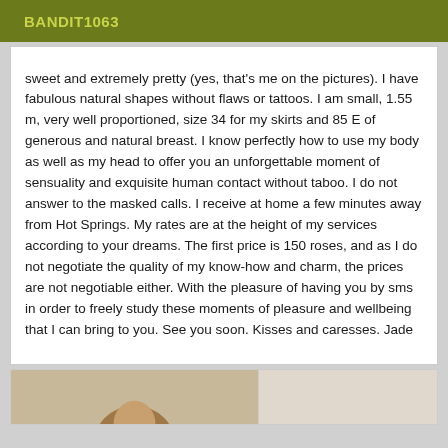BANDIT1063
sweet and extremely pretty (yes, that's me on the pictures). I have fabulous natural shapes without flaws or tattoos. I am small, 1.55 m, very well proportioned, size 34 for my skirts and 85 E of generous and natural breast. I know perfectly how to use my body as well as my head to offer you an unforgettable moment of sensuality and exquisite human contact without taboo. I do not answer to the masked calls. I receive at home a few minutes away from Hot Springs. My rates are at the height of my services according to your dreams. The first price is 150 roses, and as I do not negotiate the quality of my know-how and charm, the prices are not negotiable either. With the pleasure of having you by sms in order to freely study these moments of pleasure and wellbeing that I can bring to you. See you soon. Kisses and caresses. Jade
[Figure (photo): Photo of a person, partially visible at bottom of page]